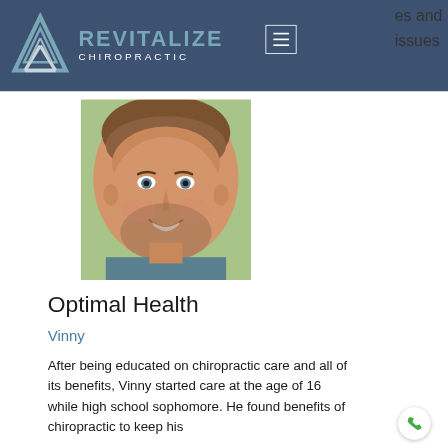Revitalize Chiropractic
es and issues
[Figure (photo): Headshot of a smiling young man with short brown hair and a beard, wearing a plaid shirt, photographed outdoors.]
Optimal Health
Vinny
After being educated on chiropractic care and all of its benefits, Vinny started care at the age of 16 while high school sophomore. He found benefits of chiropractic to keep his